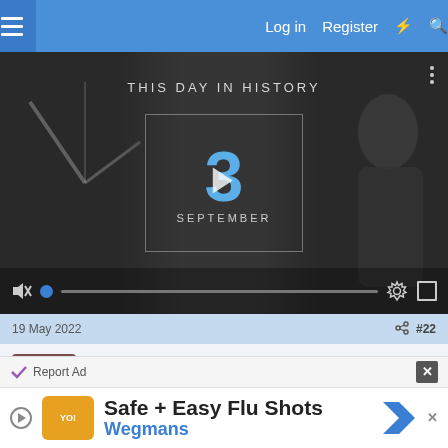Log in  Register
[Figure (screenshot): Video player showing 'THIS DAY IN HISTORY' with date September 3, featuring a play button, mute icon, progress bar, settings and fullscreen controls]
19 May 2022  #22
Doug71
Established Member
Report Ad  Safe + Easy Flu Shots  Wegmans